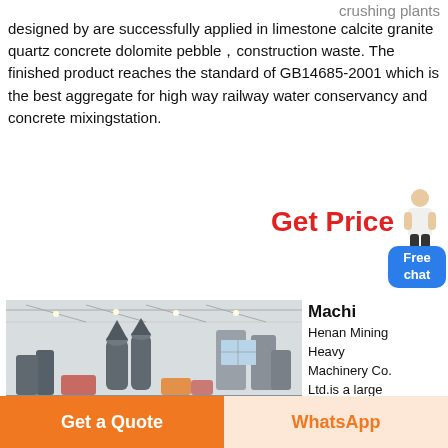crushing plants designed by are successfully applied in limestone calcite granite quartz concrete dolomite pebble、construction waste. The finished product reaches the standard of GB14685-2001 which is the best aggregate for high way railway water conservancy and concrete mixingstation.
Get Price
[Figure (photo): Interior of a large industrial factory/workshop with heavy mining machinery including large mills and cylindrical equipment on the factory floor under a high truss roof.]
Machinery Henan Mining Heavy Machinery Co. Ltd.is a large joint-stock company specialized in manufacturing heavy mining
Get a Quote
WhatsApp